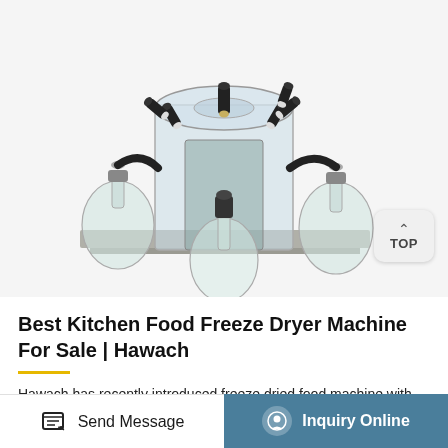[Figure (photo): A laboratory freeze dryer machine with a transparent cylindrical chamber on a stainless steel base, multiple black valve ports around the top chamber, and several glass flask bottles attached to the ports.]
Best Kitchen Food Freeze Dryer Machine For Sale | Hawach
Hawach has recently introduced freeze dried food machine with four different cold trap temperatures: -40°C, -45°C